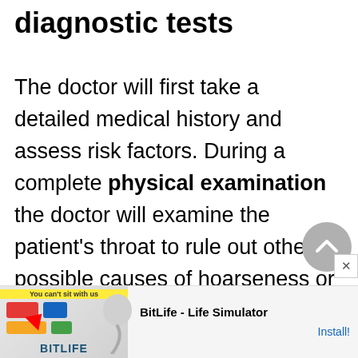diagnostic tests
The doctor will first take a detailed medical history and assess risk factors. During a complete physical examination the doctor will examine the patient's throat to rule out other possible causes of hoarseness or coughing, and will listen to the patient's breathing and chest sounds.
If the doctor has reason to suspect lung... has...
[Figure (screenshot): BitLife - Life Simulator advertisement banner at the bottom of the page with Ad badge, game imagery, app name and Install button]